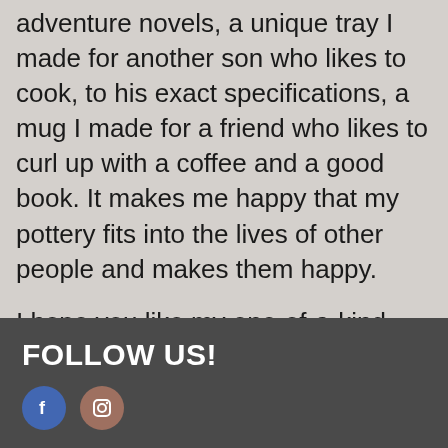adventure novels, a unique tray I made for another son who likes to cook, to his exact specifications, a mug I made for a friend who likes to curl up with a coffee and a good book. It makes me happy that my pottery fits into the lives of other people and makes them happy.
I hope you like my one-of-a-kind creations!
FOLLOW US!